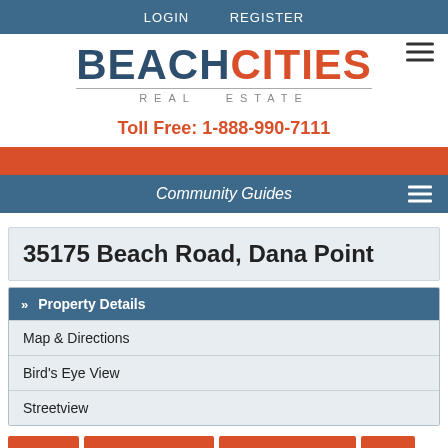LOGIN   REGISTER
[Figure (logo): Beach Cities Real Estate logo with BEACH in dark blue and CITIES in orange-red, with 'REAL ESTATE' subtitle in grey]
Toll Free: 1-888-990-7111
Community Guides
35175 Beach Road, Dana Point
» Property Details
Map & Directions
Bird's Eye View
Streetview
Inquire!   Request Showing   Share with Friends   Print   Add to Favorites   V-Tour